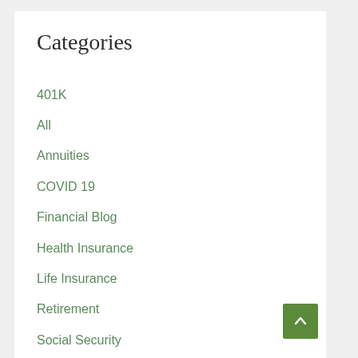Categories
401K
All
Annuities
COVID 19
Financial Blog
Health Insurance
Life Insurance
Retirement
Social Security